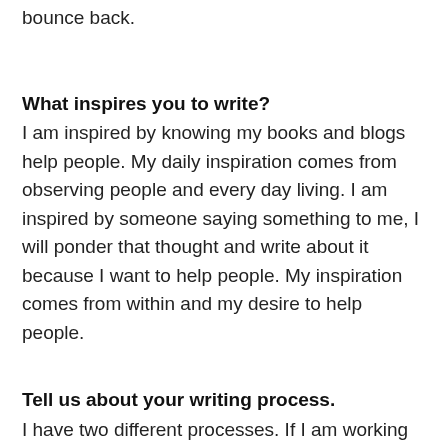bounce back.
What inspires you to write?
I am inspired by knowing my books and blogs help people. My daily inspiration comes from observing people and every day living. I am inspired by someone saying something to me, I will ponder that thought and write about it because I want to help people. My inspiration comes from within and my desire to help people.
Tell us about your writing process.
I have two different processes. If I am working on a book, I will first outline the book and then write at that moment what I am most interested in or feeling writing at the time. My books I always use...